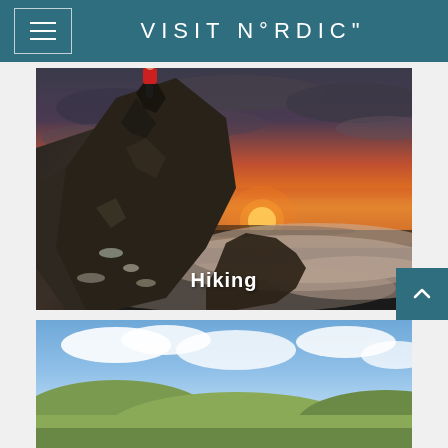VISIT N°RDIC"
[Figure (photo): Person in red jacket standing on a rocky mountain peak at dramatic sunset, with orange and red sky and misty fog below. Label 'Hiking' overlaid at bottom center.]
[Figure (photo): Partial view of a second landscape photo showing green hills under a blue sky with white clouds.]